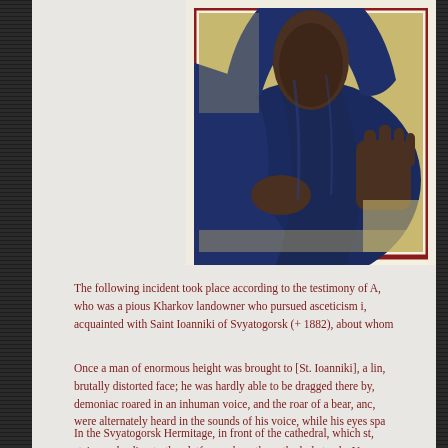[Figure (photo): A Russian Orthodox icon showing a figure (likely the Virgin Mary or a saint) robed in dark blue/indigo drapery with one hand raised and one hand at chest, set against a gold background with a red border frame. The image is cropped showing the upper body and hands.]
The following incident took place according to the testimony of A, who was a pious Kharkov landowner who pursued asceticism i, acquainted with Saint Ioanniki of Svyatogorsk (+ 1882), about whom...
Once a man of enormous height was brought to [St. Ioanniki], a lin, brutally distorted face; he was hardly able to be dragged there by, demoniac roared in an inhuman voice, and the roar of a bear, anc, were alternately heard in the sounds of his voice, while his eyes spa...
In the Svyatogorsk Hermitage, in front of the cathedral, which st, staircase leading to the platform where the cathedral stands. U...